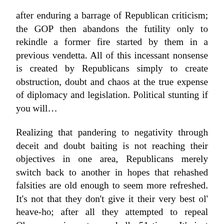after enduring a barrage of Republican criticism; the GOP then abandons the futility only to rekindle a former fire started by them in a previous vendetta. All of this incessant nonsense is created by Republicans simply to create obstruction, doubt and chaos at the true expense of diplomacy and legislation. Political stunting if you will…
Realizing that pandering to negativity through deceit and doubt baiting is not reaching their objectives in one area, Republicans merely switch back to another in hopes that rehashed falsities are old enough to seem more refreshed. It's not that they don't give it their very best ol' heave-ho; after all they attempted to repeal Obamacare in parts or wholly 51 times. It's just that when starting on false premises one will inevitably wind up finishing as a false aprioristic conclusion; as clowns so to speak.